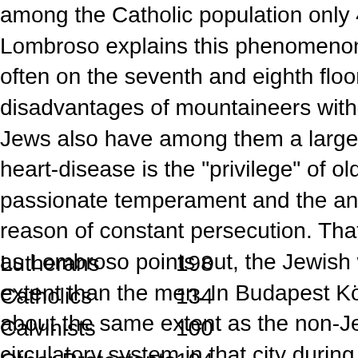among the Catholic population only 4 per cent of deaths from h... Lombroso explains this phenomenon by the fact that in Verona ... often on the seventh and eighth floors; and he tersely remarks t... disadvantages of mountaineers without any of the hygienic ben... Jews also have among them a larger proportion of old persons;... heart-disease is the "privilege" of old age. Finally, as other facto... passionate temperament and the anxious struggle for existence... reason of constant persecution. That this contention has a firm b... as Lombroso points out, the Jewish women are affected with he... extent than the men. In Budapest Körösi found that the Jews su... about the same extent as the non-Jewish population. The morta... circulatory system in that city during the period 1886-90 was as
Lutherans    198
Catholics    134
Calvinists    100
Other Protestants 104